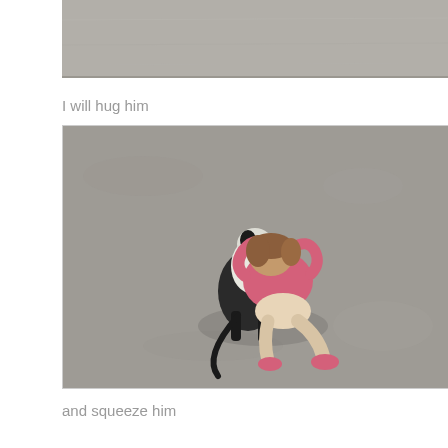[Figure (photo): Top portion of a photo showing a grey concrete/pavement surface, cut off at the bottom edge.]
I will hug him
[Figure (photo): Aerial view of a young girl with brown hair wearing a pink top and pink sandals, crouching on grey pavement and hugging a black and white cat tightly.]
and squeeze him